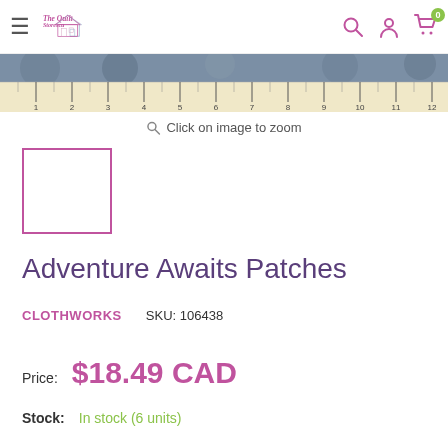The Quilt Storescu
[Figure (photo): Ruler/measuring tape image showing fabric with measurements from 1 to 12 inches]
Click on image to zoom
[Figure (photo): Small thumbnail image placeholder with pink border]
Adventure Awaits Patches
CLOTHWORKS   SKU: 106438
Price:  $18.49 CAD
Stock:  In stock (6 units)